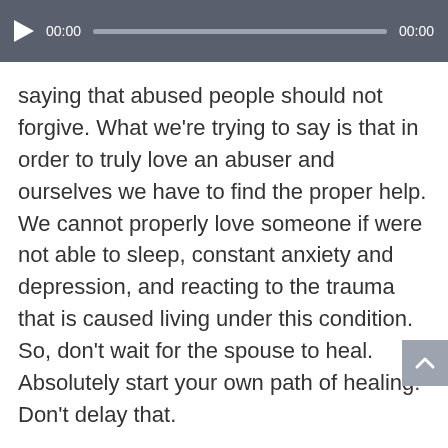[Figure (other): Audio player bar with play button, 00:00 time label, progress track, and 00:00 end time label on dark gray background]
saying that abused people should not forgive. What we’re trying to say is that in order to truly love an abuser and ourselves we have to find the proper help. We cannot properly love someone if were not able to sleep, constant anxiety and depression, and reacting to the trauma that is caused living under this condition. So, don’t wait for the spouse to heal. Absolutely start your own path of healing. Don’t delay that.
Give Yourself The Gift Of Patience & Time
Anne: And just because you set boundaries because you’re not safe yet, doesn’t mean you